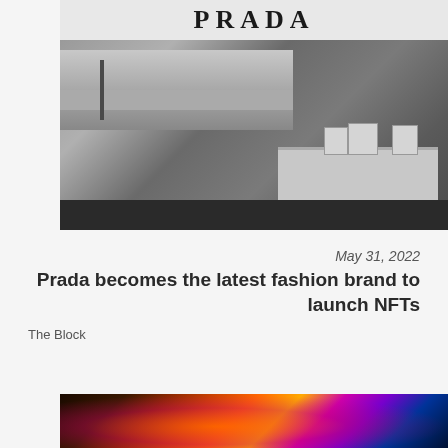[Figure (photo): Black and white photograph of a Prada store exterior showing the PRADA sign above the window, with a desert landscape reflected in the glass window, and luxury handbags displayed on a shelf inside the store]
May 31, 2022
Prada becomes the latest fashion brand to launch NFTs
The Block
[Figure (photo): Colorful digital art image with orange, red, and green fluorescent colors — appears to be NFT-related artwork, partially visible at bottom of page]